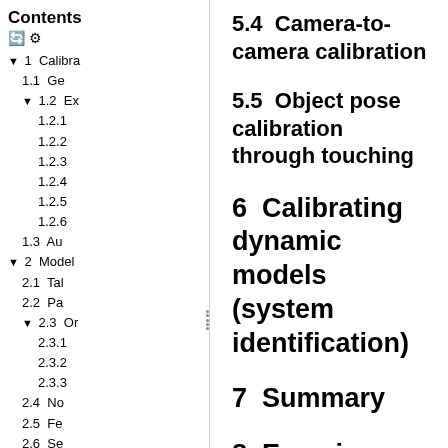Contents
1  Calibra
1.1  Ge
1.2  Ex
1.2.1
1.2.2
1.2.3
1.2.4
1.2.5
1.2.6
1.3  Au
2  Model
2.1  Tal
2.2  Pa
2.3  Or
2.3.1
2.3.2
2.3.3
2.4  No
2.5  Fe
2.6  Se
2.7  Ov
5.4  Camera-to-camera calibration
5.5  Object pose calibration through touching
6  Calibrating dynamic models (system identification)
7  Summary
8  Exercises
In [ ]: